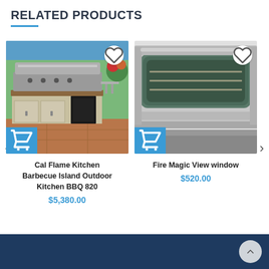RELATED PRODUCTS
[Figure (photo): Cal Flame outdoor kitchen BBQ island with stainless steel grill, double doors, and mini refrigerator on patio]
Cal Flame Kitchen Barbecue Island Outdoor Kitchen BBQ 820
$5,380.00
[Figure (photo): Fire Magic View window - stainless steel grill with curved glass viewing window]
Fire Magic View window
$520.00